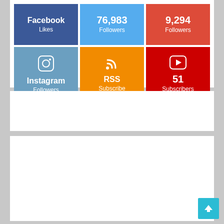[Figure (infographic): Social media follower counts widget showing Facebook Likes, Twitter 76,983 Followers, Google+ 9,294 Followers (top row), and Instagram Followers, RSS Subscribe, YouTube 51 Subscribers (bottom row)]
[Figure (screenshot): InterServer.net advertisement banner showing VPS & CLOUD HOSTING text with server tower graphic]